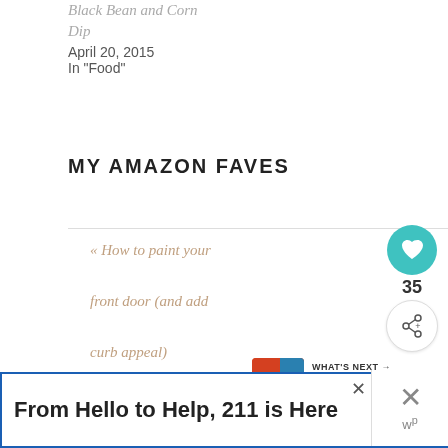Black Bean and Corn Dip
April 20, 2015
In "Food"
MY AMAZON FAVES
« How to paint your front door (and add curb appeal)
DIY Modern Bike Rack »
Comments
From Hello to Help, 211 is Here